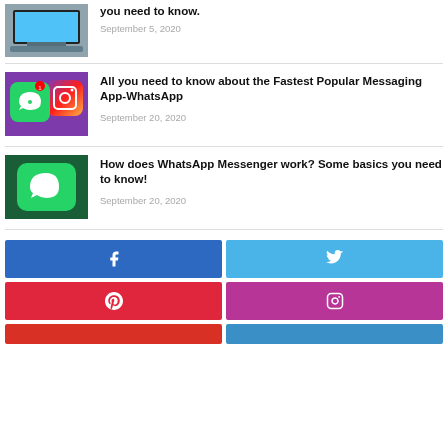[Figure (photo): Laptop with tablet/iPad on keyboard, hands typing]
you need to know.
September 5, 2020
[Figure (photo): WhatsApp and Instagram app icons on phone screen]
All you need to know about the Fastest Popular Messaging App-WhatsApp
September 20, 2020
[Figure (photo): WhatsApp messenger icon on green background]
How does WhatsApp Messenger work? Some basics you need to know!
September 20, 2020
[Figure (infographic): Social media share buttons: Facebook, Twitter, Pinterest, Instagram, and two more]